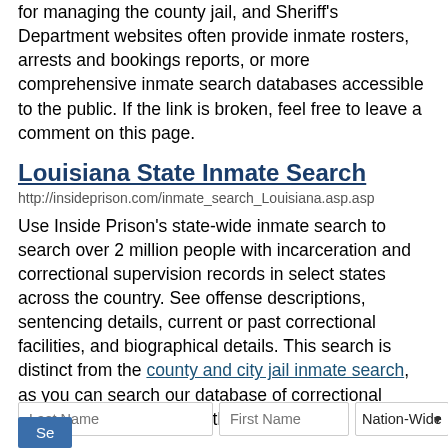for managing the county jail, and Sheriff's Department websites often provide inmate rosters, arrests and bookings reports, or more comprehensive inmate search databases accessible to the public. If the link is broken, feel free to leave a comment on this page.
Louisiana State Inmate Search
http://insideprison.com/inmate_search_Louisiana.asp.asp
Use Inside Prison's state-wide inmate search to search over 2 million people with incarceration and correctional supervision records in select states across the country. See offense descriptions, sentencing details, current or past correctional facilities, and biographical details. This search is distinct from the county and city jail inmate search, as you can search our database of correctional supervision records directly by name.